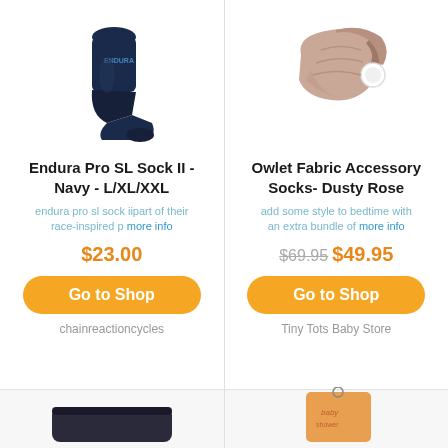[Figure (photo): Navy blue Endura Pro SL cycling sock on a white background]
Endura Pro SL Sock II - Navy - L/XL/XXL
endura pro sl sock iipart of their race-inspired p more info
$23.00
Go to Shop
chainreactioncycles
[Figure (photo): Dusty rose / beige Owlet fabric ankle wrap accessory sock on white background]
Owlet Fabric Accessory Socks- Dusty Rose
add some style to bedtime with an extra bundle of more info
$69.95 $49.95
Go to Shop
Tiny Tots Baby Store
[Figure (photo): Partial view of a dark-colored sock at bottom left]
[Figure (photo): Partial view of an orange/tan charm keychain at bottom right]